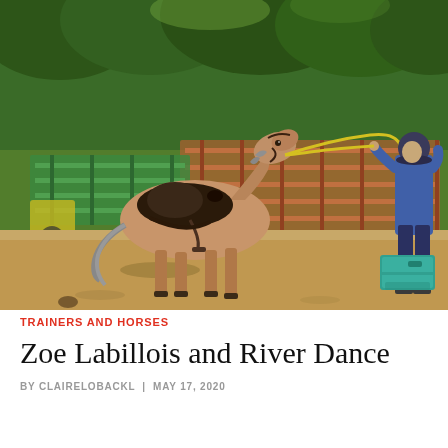[Figure (photo): Outdoor equestrian scene: a saddled brown and grey horse stands in a dirt arena, held by a yellow lunge line connected to a person in a blue denim shirt and riding helmet on the right. Metal pipe fencing (green and rust-colored) surrounds the area. A teal/turquoise mounting block sits near the right fence. Dense green trees fill the background.]
TRAINERS AND HORSES
Zoe Labillois and River Dance
BY CLAIRELOBACKL | MAY 17, 2020